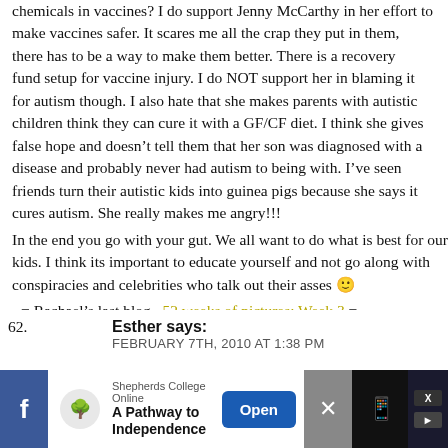chemicals in vaccines? I do support Jenny McCarthy in her effort to make vaccines safer. It scares me all the crap they put in them, there has to be a way to make them better. There is a recovery fund setup for vaccine injury. I do NOT support her in blaming it for autism though. I also hate that she makes parents with autistic children think they can cure it with a GF/CF diet. I think she gives false hope and doesn't tell them that her son was diagnosed with a disease and probably never had autism to being with. I've seen friends turn their autistic kids into guinea pigs because she says it cures autism. She really makes me angry!!!
In the end you go with your gut. We all want to do what is best for our kids. I think its important to educate yourself and not go along with conspiracies and celebrities who talk out their asses 🙂
.-= Rachael's last blog ..52 weeks of pictures: Week 3 =-.
> Reply
62. Esther says:
FEBRUARY 7TH, 2010 AT 1:38 PM
[Figure (screenshot): Advertisement banner for Shepherds College Online — A Pathway to Independence, with Open button, Facebook icon on left, and close/share icons on right.]